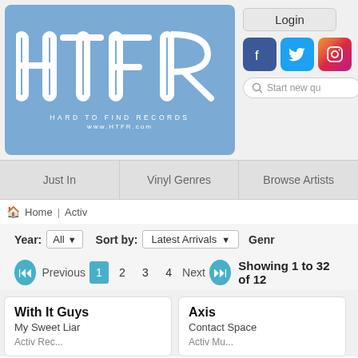[Figure (logo): HTFR Hard To Find Records logo on blue background with www.HTFR.com]
[Figure (screenshot): Login button, Facebook, Twitter, Instagram social icons, and search bar]
Just In | Vinyl Genres | Browse Artists
Home | Activ
Year: All  Sort by: Latest Arrivals  Genr
Previous  1  2  3  4  Next  Showing 1 to 32 of 12...
With It Guys
My Sweet Liar
Axis
Contact Space